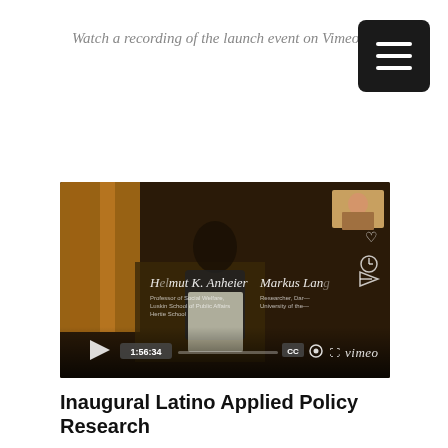Watch a recording of the launch event on Vimeo:
[Figure (screenshot): A Vimeo video player screenshot showing a conference speaker at a podium. The video shows text overlays with 'Helmut K. Anheier, Professor of Social Welfare, Luskin School of Public Affairs, Hertie School' and 'Markus Lang, Researcher, Dar..., University of the...' The video player shows a duration of 1:56:34 with standard Vimeo controls including play button, CC, settings gear, fullscreen, and Vimeo logo.]
Inaugural Latino Applied Policy Research